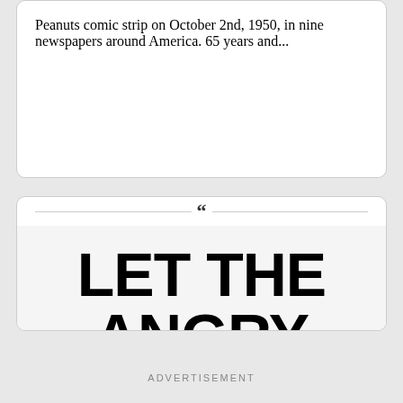Peanuts comic strip on October 2nd, 1950, in nine newspapers around America. 65 years and...
[Figure (other): Quote card with large bold text reading 'LET THE ANGRY WORD BE ANSWERED ONLY WITH' on a light gray background, with decorative quotation mark at the top border]
ADVERTISEMENT